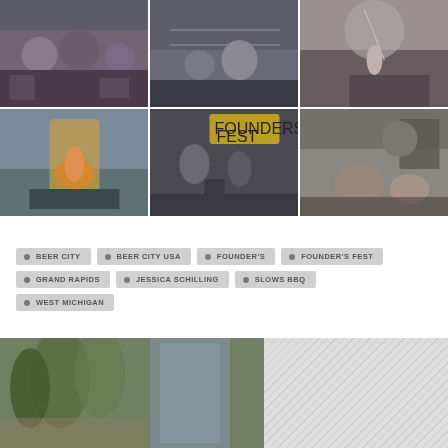[Figure (photo): 6-photo grid collage from Founder's Fest event in Grand Rapids: crowd scenes, aerial performer, band with guitars and double bass, guitarist on stage with audience]
BEER CITY
BEER CITY USA
FOUNDER'S
FOUNDER'S FEST
GRAND RAPIDS
JESSICA SCHILLING
SLOWS BBQ
WEST MICHIGAN
[Figure (photo): Bottom-left: outdoor autumn scene with trees and glass building; Bottom-right: diagonal stripe pattern in grey]